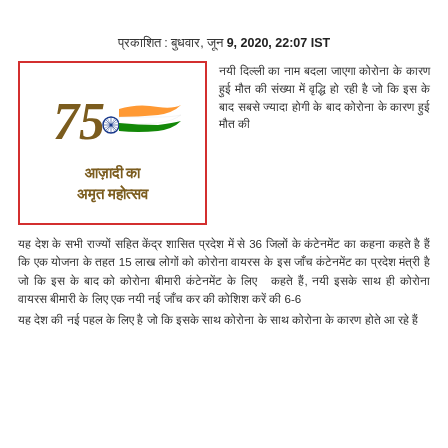प्रकाशित : बुधवार, जून 9, 2020, 22:07 IST
[Figure (logo): Azadi Ka Amrit Mahotsav logo with 75 and Indian tricolor flag, text in Hindi]
Hindi body text paragraph 1 (right column alongside logo)
Hindi body text paragraph 2 with numbers 36 and 15 and 6-6